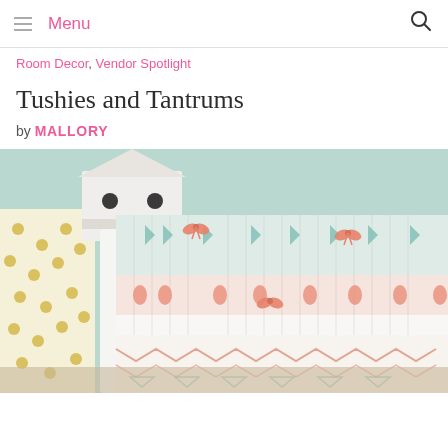Menu
Room Decor, Vendor Spotlight
Tushies and Tantrums
by MALLORY
[Figure (photo): Baby crib with decorative bedding featuring coral, mint/teal, and white patterns with bows, and a white birdhouse on the side. Yellow polka dot fabric visible on left.]